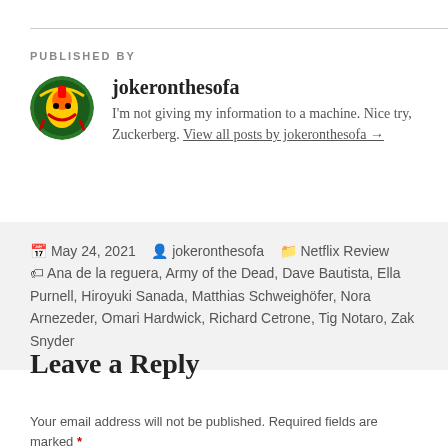PUBLISHED BY
jokeronthesofa
I'm not giving my information to a machine. Nice try, Zuckerberg. View all posts by jokeronthesofa →
May 24, 2021  jokeronthesofa  Netflix Review  Ana de la reguera, Army of the Dead, Dave Bautista, Ella Purnell, Hiroyuki Sanada, Matthias Schweighöfer, Nora Arnezeder, Omari Hardwick, Richard Cetrone, Tig Notaro, Zak Snyder
Leave a Reply
Your email address will not be published. Required fields are marked *